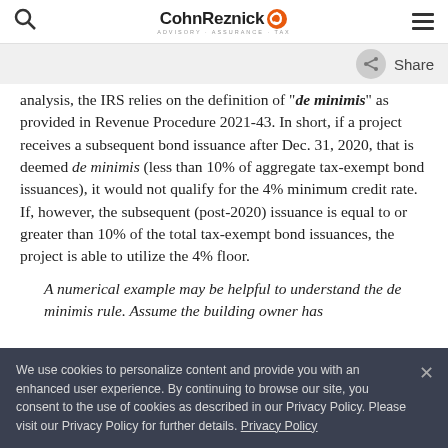CohnReznick | ADVISORY · ASSURANCE · TAX
analysis, the IRS relies on the definition of "de minimis" as provided in Revenue Procedure 2021-43. In short, if a project receives a subsequent bond issuance after Dec. 31, 2020, that is deemed de minimis (less than 10% of aggregate tax-exempt bond issuances), it would not qualify for the 4% minimum credit rate. If, however, the subsequent (post-2020) issuance is equal to or greater than 10% of the total tax-exempt bond issuances, the project is able to utilize the 4% floor.
A numerical example may be helpful to understand the de minimis rule. Assume the building owner has
We use cookies to personalize content and provide you with an enhanced user experience. By continuing to browse our site, you consent to the use of cookies as described in our Privacy Policy. Please visit our Privacy Policy for further details. Privacy Policy